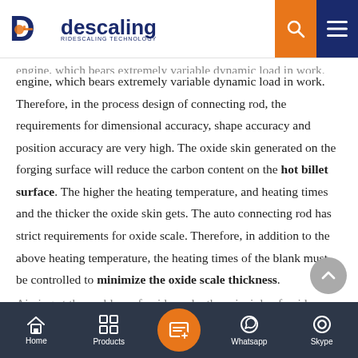descaling RIDESCALING TECHNOLOGY
engine, which bears extremely variable dynamic load in work. Therefore, in the process design of connecting rod, the requirements for dimensional accuracy, shape accuracy and position accuracy are very high. The oxide skin generated on the forging surface will reduce the carbon content on the hot billet surface. The higher the heating temperature, and heating times and the thicker the oxide skin gets. The auto connecting rod has strict requirements for oxide scale. Therefore, in addition to the above heating temperature, the heating times of the blank must be controlled to minimize the oxide scale thickness. Aiming at the problem of oxide scale, the principle of oxide...
Home   Products   [center button]   Whatsapp   Skype